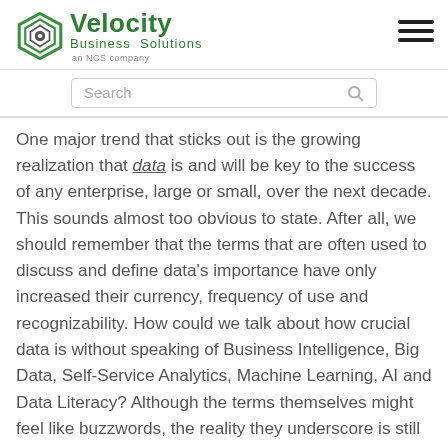Velocity Business Solutions — an NCS company
One major trend that sticks out is the growing realization that data is and will be key to the success of any enterprise, large or small, over the next decade. This sounds almost too obvious to state. After all, we should remember that the terms that are often used to discuss and define data's importance have only increased their currency, frequency of use and recognizability. How could we talk about how crucial data is without speaking of Business Intelligence, Big Data, Self-Service Analytics, Machine Learning, AI and Data Literacy? Although the terms themselves might feel like buzzwords, the reality they underscore is still very real: Organizations are finding tangible,